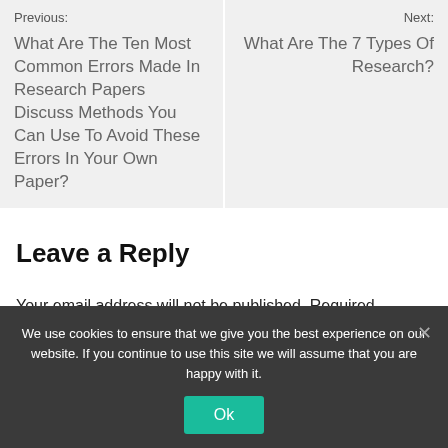Previous:
What Are The Ten Most Common Errors Made In Research Papers Discuss Methods You Can Use To Avoid These Errors In Your Own Paper?
Next:
What Are The 7 Types Of Research?
Leave a Reply
Your email address will not be published. Required
We use cookies to ensure that we give you the best experience on our website. If you continue to use this site we will assume that you are happy with it.
Ok